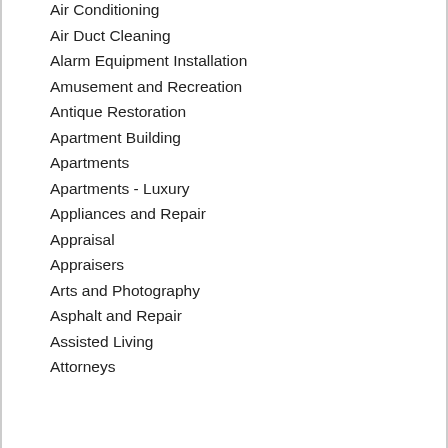Air Conditioning
Air Duct Cleaning
Alarm Equipment Installation
Amusement and Recreation
Antique Restoration
Apartment Building
Apartments
Apartments - Luxury
Appliances and Repair
Appraisal
Appraisers
Arts and Photography
Asphalt and Repair
Assisted Living
Attorneys